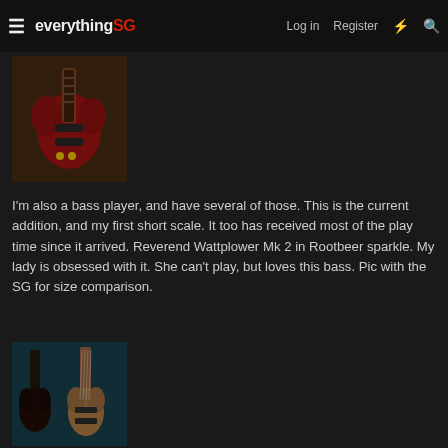everythingSG  Log in  Register
[Figure (photo): Photo of a red SG-style electric guitar on an amplifier]
I'm also a bass player, and have several of those. This is the current addition, and my first short scale. It too has received most of the play time since it arrived. Reverend Wattplower Mk 2 in Rootbeer sparkle. My lady is obsessed with it. She can't play, but loves this bass. Pic with the SG for size comparison.
[Figure (photo): Photo of two guitars side by side: an SG-style guitar and a short-scale bass (Reverend Wattplower Mk 2)]